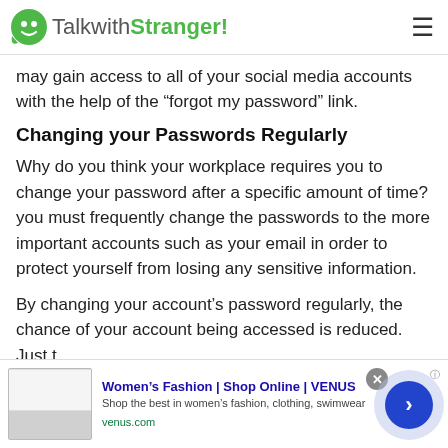TalkwithStranger!
may gain access to all of your social media accounts with the help of the “forgot my password” link.
Changing your Passwords Regularly
Why do you think your workplace requires you to change your password after a specific amount of time? you must frequently change the passwords to the more important accounts such as your email in order to protect yourself from losing any sensitive information.
By changing your account’s password regularly, the chance of your account being accessed is reduced. Just t
[Figure (screenshot): Advertisement banner for Women's Fashion | Shop Online | VENUS with ad image, title link, description text 'Shop the best in women’s fashion, clothing, swimwear', URL 'venus.com', close button, and arrow navigation button.]